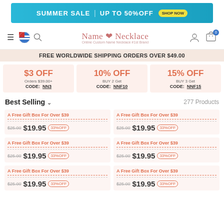[Figure (infographic): Summer Sale banner: SUMMER SALE | UP TO 50% OFF with SHOP NOW button, cyan/teal gradient background]
[Figure (infographic): Navigation bar with hamburger menu, flag icon, search icon, Name Necklace logo, user icon, cart icon with 0 badge]
FREE WORLDWIDE SHIPPING ORDERS OVER $49.00
$3 OFF Orders $39.00+ CODE: NN3
10% OFF BUY 2 Get CODE: NNF10
15% OFF BUY 3 Get CODE: NNF15
Best Selling
277 Products
A Free Gift Box For Over $39
$25.00 $19.95 33%OFF
A Free Gift Box For Over $39
$25.00 $19.95 33%OFF
A Free Gift Box For Over $39
$25.00 $19.95 33%OFF
A Free Gift Box For Over $39
$25.00 $19.95 33%OFF
A Free Gift Box For Over $39
$25.00 $19.95 33%OFF
A Free Gift Box For Over $39
$25.00 $19.95 33%OFF